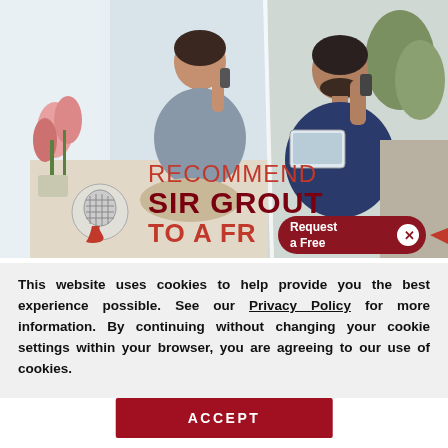[Figure (photo): Split composite photo showing two people talking on phones. Left: woman in light blue top sitting by window with flowers. Right: man in dark blue shirt holding tablet while on phone call. Overlaid text reads 'RECOMMEND SIR GROUT TO A FR...' with a 'Request a Free' popup button and a Sir Grout logo/icon.]
This website uses cookies to help provide you the best experience possible. See our Privacy Policy for more information. By continuing without changing your cookie settings within your browser, you are agreeing to our use of cookies.
ACCEPT